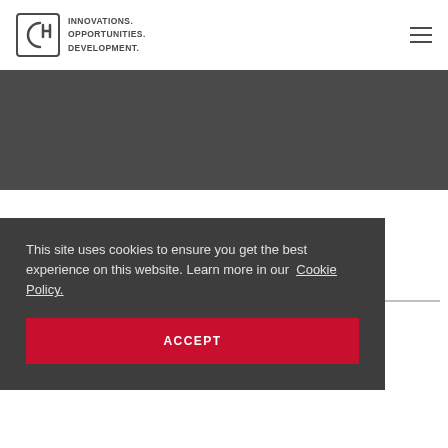[Figure (logo): BH logo icon with circular arrow-like symbol and text INNOVATIONS. OPPORTUNITIES. DEVELOPMENT.]
[Figure (other): Dark gray banner background section]
This site uses cookies to ensure you get the best experience on this website. Learn more in our Cookie Policy.
ACCEPT